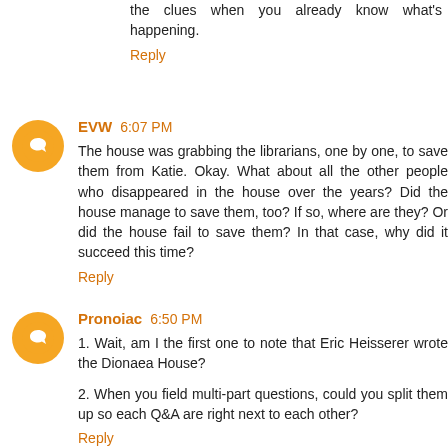the clues when you already know what's happening.
Reply
EVW 6:07 PM
The house was grabbing the librarians, one by one, to save them from Katie. Okay. What about all the other people who disappeared in the house over the years? Did the house manage to save them, too? If so, where are they? Or did the house fail to save them? In that case, why did it succeed this time?
Reply
Pronoiac 6:50 PM
1. Wait, am I the first one to note that Eric Heisserer wrote the Dionaea House?

2. When you field multi-part questions, could you split them up so each Q&A are right next to each other?
Reply